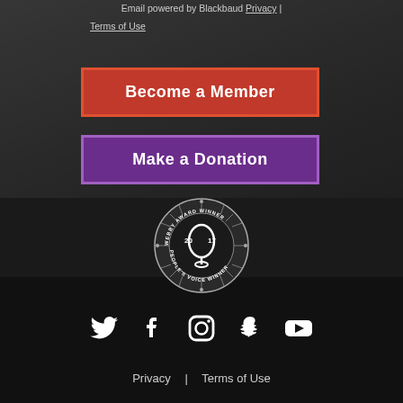Email powered by Blackbaud Privacy | Terms of Use
[Figure (other): Orange 'Become a Member' button with red-orange border]
[Figure (other): Purple 'Make a Donation' button with purple border]
[Figure (logo): Webby Award Winner 2017 People's Voice Winner badge/seal]
[Figure (other): Social media icons row: Twitter, Facebook, Instagram, Snapchat, YouTube]
Privacy | Terms of Use